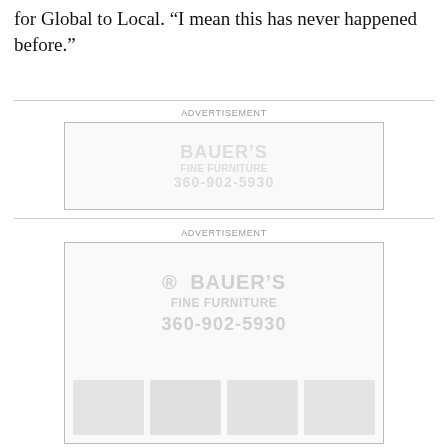for Global to Local. “I mean this has never happened before.”
[Figure (other): Advertisement placeholder box with watermark text 'BAUER’S' for a small ad]
[Figure (other): Advertisement placeholder box with watermark text 'MR. BAUER’S FINE FURNITURE 360-902-5930' for a large ad with thumbnail images at bottom]